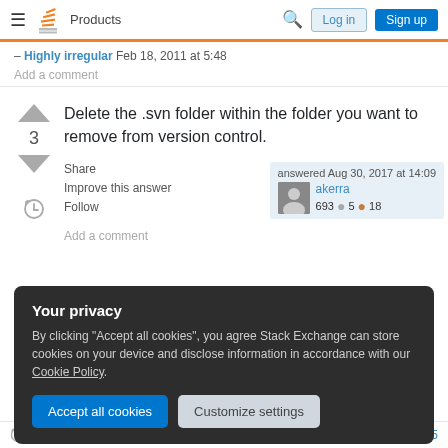≡  [Stack Overflow logo]  Products  🔍  Log in  Sign up
– Highly irregular  Feb 18, 2011 at 5:48
Add a comment
Delete the .svn folder within the folder you want to remove from version control.
Share
Improve this answer
Follow
answered Aug 30, 2017 at 14:09
akerra
693 ● 5 ● 18
Add a comment
Your privacy
By clicking "Accept all cookies", you agree Stack Exchange can store cookies on your device and disclose information in accordance with our Cookie Policy.
Accept all cookies   Customize settings
Share  answered Jul 10, 2010 at 2:55